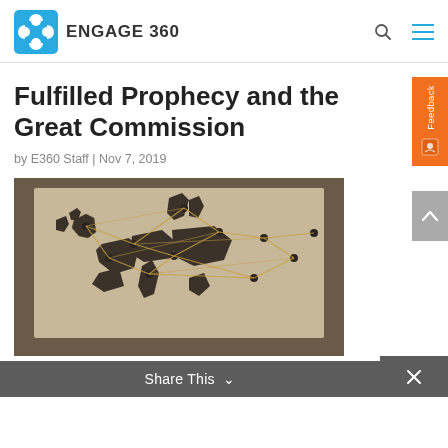ENGAGE 360
Fulfilled Prophecy and the Great Commission
by E360 Staff | Nov 7, 2019
[Figure (photo): A map board of Europe with pins and string lines connecting locations, sepia-toned photograph]
Share This